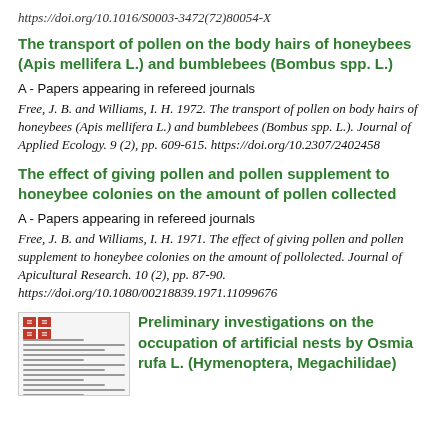https://doi.org/10.1016/S0003-3472(72)80054-X
The transport of pollen on the body hairs of honeybees (Apis mellifera L.) and bumblebees (Bombus spp. L.)
A - Papers appearing in refereed journals
Free, J. B. and Williams, I. H. 1972. The transport of pollen on body hairs of honeybees (Apis mellifera L.) and bumblebees (Bombus spp. L.). Journal of Applied Ecology. 9 (2), pp. 609-615. https://doi.org/10.2307/2402458
The effect of giving pollen and pollen supplement to honeybee colonies on the amount of pollen collected
A - Papers appearing in refereed journals
Free, J. B. and Williams, I. H. 1971. The effect of giving pollen and pollen supplement to honeybee colonies on the amount of pollen collected. Journal of Apicultural Research. 10 (2), pp. 87-90. https://doi.org/10.1080/00218839.1971.11099676
Preliminary investigations on the occupation of artificial nests by Osmia rufa L. (Hymenoptera, Megachilidae)
[Figure (screenshot): Thumbnail image of a document page with a red logo in top-left corner and lines of text below]